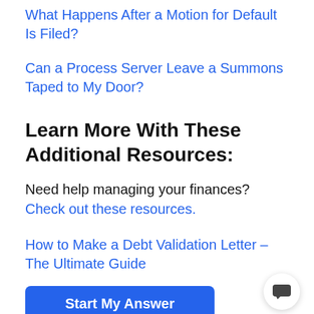What Happens After a Motion for Default Is Filed?
Can a Process Server Leave a Summons Taped to My Door?
Learn More With These Additional Resources:
Need help managing your finances? Check out these resources.
How to Make a Debt Validation Letter – The Ultimate Guide
[Figure (other): Blue 'Start My Answer' button]
How to Compel Arbitration Without an Attorney